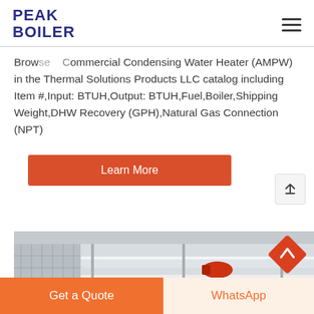PEAK BOILER
Browse Commercial Condensing Water Heater (AMPW) in the Thermal Solutions Products LLC catalog including Item #,Input: BTUH,Output: BTUH,Fuel,Boiler,Shipping Weight,DHW Recovery (GPH),Natural Gas Connection (NPT)
Learn More
[Figure (photo): Industrial boiler/piping equipment in a facility — horizontal pipes, blue pumps, metal framework]
Get a Quote
WhatsApp